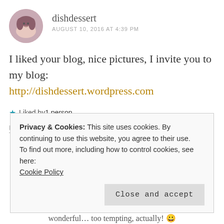[Figure (photo): Round avatar photo of a young woman with curly hair smiling]
dishdessert
AUGUST 10, 2016 AT 4:39 PM
I liked your blog, nice pictures, I invite you to my blog:
http://dishdessert.wordpress.com
★ Liked by 1 person
REPLY
Privacy & Cookies: This site uses cookies. By continuing to use this website, you agree to their use.
To find out more, including how to control cookies, see here:
Cookie Policy
Close and accept
wonderful… too tempting, actually! 😀